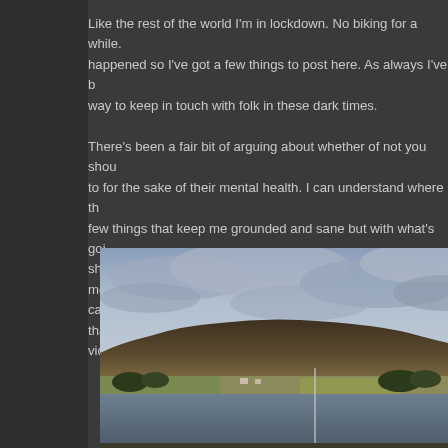Like the rest of the world I'm in lockdown. No biking for a while. happened so I've got a few things to post here. As always I've b way to keep in touch with folk in these dark times. There's been a fair bit of arguing about whether of not you shou to for the sake of their mental health. I can understand where th few things that keep me grounded and sane but with what's goi shed. It's just not worth potentially spreading the virus not to me cause. So at the moment its all about maintaining the bikes tha video from local rides I got in before lockdown.
[Figure (photo): Outdoor landscape photo showing a loch or reservoir in the foreground with calm water. In the middle distance is flat moorland/grassland with some trees and buildings. Behind that is a rolling heather-covered hill. The sky is overcast with grey and white clouds. A thin vertical pole or mast is visible near the water's edge.]